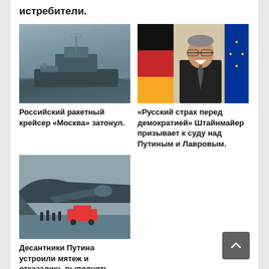истребители.
[Figure (photo): Photo of a Russian warship (missile cruiser Moskva) sailing on grey sea]
Российский ракетный крейсер «Москва» затонул.
[Figure (photo): Photo of a statesman (Frank-Walter Steinmeier) speaking at a podium with German and EU flags in background]
«Русский страх перед демократией» Штайнмайер призывает к суду над Путиным и Лавровым.
[Figure (photo): Photo of military personnel on a rain-wet tarmac near a large cargo aircraft with an ambulance vehicle]
Десантники Путина устроили мятеж и отказались выполнять